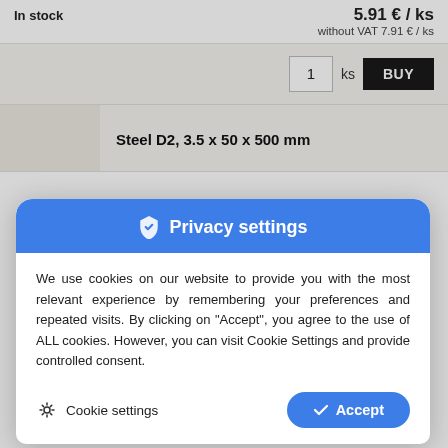In stock
5.91 € / ks
without VAT 7.91 € / ks
1  ks  BUY
Steel D2, 3.5 x 50 x 500 mm
Privacy settings
We use cookies on our website to provide you with the most relevant experience by remembering your preferences and repeated visits. By clicking on "Accept", you agree to the use of ALL cookies. However, you can visit Cookie Settings and provide controlled consent.
Cookie settings
Accept